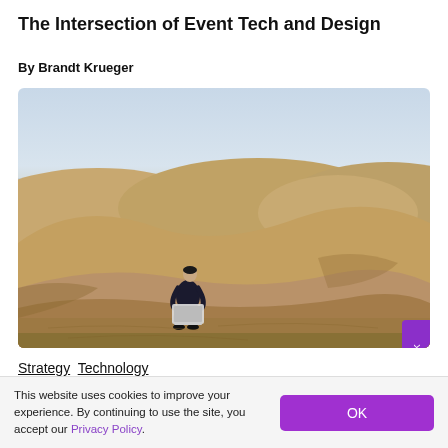The Intersection of Event Tech and Design
By Brandt Krueger
[Figure (photo): A person in a dark suit crouching on sand dunes in a desert landscape, working on a laptop. The sky is pale blue-grey and the dunes are golden-tan.]
Strategy Technology
This website uses cookies to improve your experience. By continuing to use the site, you accept our Privacy Policy.